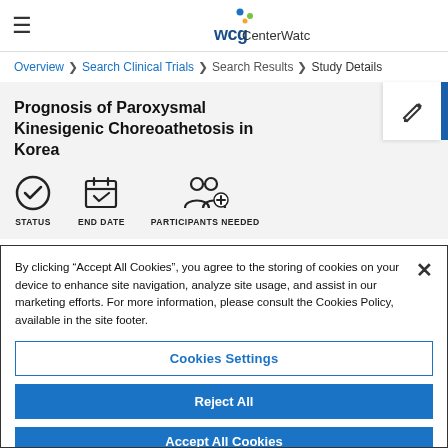WCG CenterWatch
Overview > Search Clinical Trials > Search Results > Study Details
Prognosis of Paroxysmal Kinesigenic Choreoathetosis in Korea
[Figure (infographic): Three icons row: STATUS (checkmark circle), END DATE (calendar with checkmark), PARTICIPANTS NEEDED (people with plus sign)]
By clicking “Accept All Cookies”, you agree to the storing of cookies on your device to enhance site navigation, analyze site usage, and assist in our marketing efforts. For more information, please consult the Cookies Policy, available in the site footer.
Cookies Settings
Reject All
Accept All Cookies